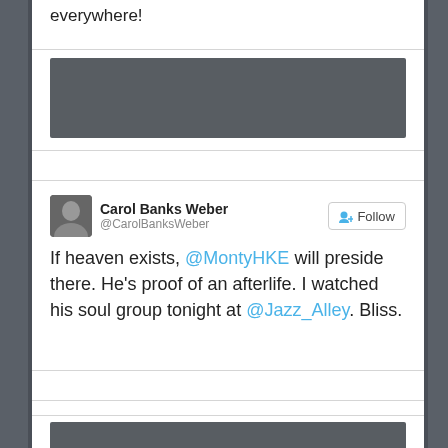everywhere!
[Figure (photo): Dark gray rectangular image block (profile/media image, partially visible)]
Carol Banks Weber @CarolBanksWeber Follow
If heaven exists, @MontyHKE will preside there. He's proof of an afterlife. I watched his soul group tonight at @Jazz_Alley. Bliss.
[Figure (photo): Dark gray rectangular image block at bottom (partially visible)]